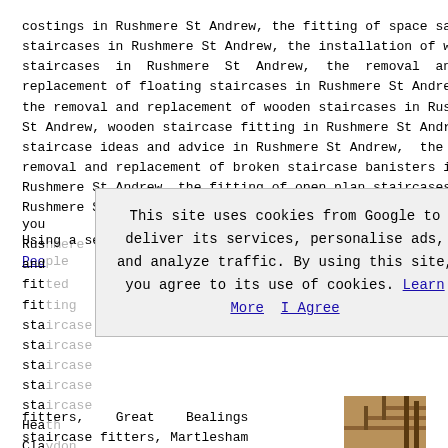costings in Rushmere St Andrew, the fitting of space saving staircases in Rushmere St Andrew, the installation of wood staircases in Rushmere St Andrew, the removal and replacement of floating staircases in Rushmere St Andrew, the removal and replacement of wooden staircases in Rushmere St Andrew, wooden staircase fitting in Rushmere St Andrew, staircase ideas and advice in Rushmere St Andrew, the removal and replacement of broken staircase banisters in Rushmere St Andrew, the fitting of open plan staircases in Rushmere St Andrew
Using a service like Rated People you can find staircase fitters in Rushmere St Andrew and surrounding areas including: fitted staircases, fitting staircases, staircase fitters, staircase fitting, staircase ideas, staircase banisters, staircase balustrades, Heath staircase fitters, Claydon staircase fitters, Grundisburgh staircase fitters, Great Bealings staircase fitters, Martlesham staircase fitters
[Figure (screenshot): Cookie consent overlay: 'This site uses cookies from Google to deliver its services, personalise ads, and analyze traffic. By using this site, you agree to its use of cookies. Learn More  I Agree']
[Figure (photo): Partial image of a wooden staircase visible at bottom right of page]